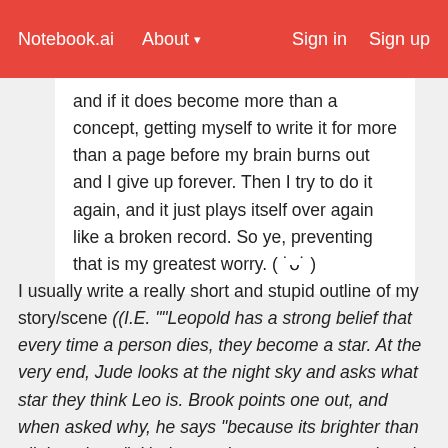Notebook.ai   About ▾   Sign in   Sign up
and if it does become more than a concept, getting myself to write it for more than a page before my brain burns out and I give up forever. Then I try to do it again, and it just plays itself over again like a broken record. So ye, preventing that is my greatest worry. ( ˙ᴗ˙ )
I usually write a really short and stupid outline of my story/scene ((I.E. ""Leopold has a strong belief that every time a person dies, they become a star. At the very end, Jude looks at the night sky and asks what star they think Leo is. Brook points one out, and when asked why, he says "because its brighter than all the others.". Herbert makes a comment on how it looks like he's saying he's proud of them, and they all cry, fade to black"")) then I build on them from there.